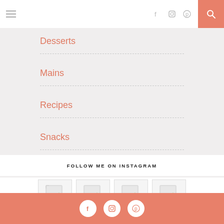Navigation header with hamburger menu, social icons (Facebook, Instagram, Pinterest), and search button
Desserts
Mains
Recipes
Snacks
FOLLOW ME ON INSTAGRAM
[Figure (photo): Instagram photo thumbnail 1 (broken image)]
[Figure (photo): Instagram photo thumbnail 2 (broken image)]
[Figure (photo): Instagram photo thumbnail 3 (broken image)]
[Figure (photo): Instagram photo thumbnail 4 (broken image)]
Footer with social icons: Facebook, Instagram, Pinterest